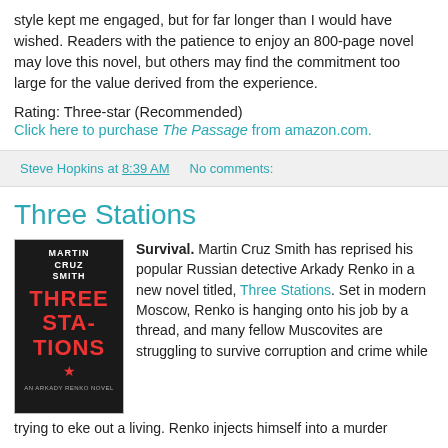style kept me engaged, but for far longer than I would have wished. Readers with the patience to enjoy an 800-page novel may love this novel, but others may find the commitment too large for the value derived from the experience.
Rating: Three-star (Recommended)
Click here to purchase The Passage from amazon.com.
Steve Hopkins at 8:39 AM   No comments:
Three Stations
Survival. Martin Cruz Smith has reprised his popular Russian detective Arkady Renko in a new novel titled, Three Stations. Set in modern Moscow, Renko is hanging onto his job by a thread, and many fellow Muscovites are struggling to survive corruption and crime while trying to eke out a living. Renko injects himself into a murder